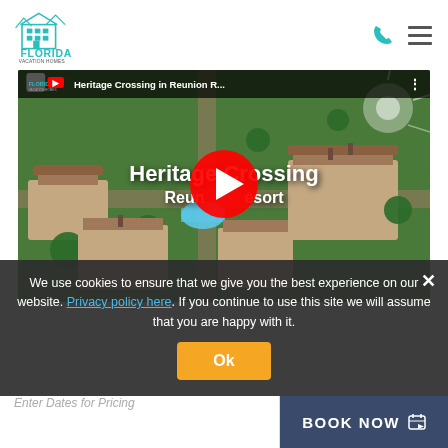[Figure (logo): Florida Vacation Homes logo with teal house/building icon and text]
[Figure (photo): YouTube video thumbnail showing aerial view of Heritage Crossing at Reunion Resort with play button overlay. Title text reads 'Heritage Crossing Reunion Resort']
We use cookies to ensure that we give you the best experience on our website. Privacy policy here. If you continue to use this site we will assume that you are happy with it.
Ok
Enter Dates for Pricing
BOOK NOW